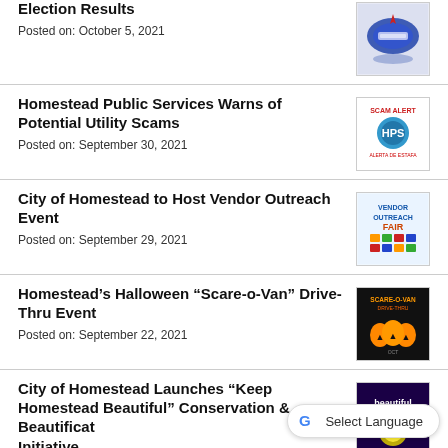Election Results
Posted on: October 5, 2021
Homestead Public Services Warns of Potential Utility Scams
Posted on: September 30, 2021
City of Homestead to Host Vendor Outreach Event
Posted on: September 29, 2021
Homestead’s Halloween “Scare-o-Van” Drive-Thru Event
Posted on: September 22, 2021
City of Homestead Launches “Keep Homestead Beautiful” Conservation & Beautification Initiative